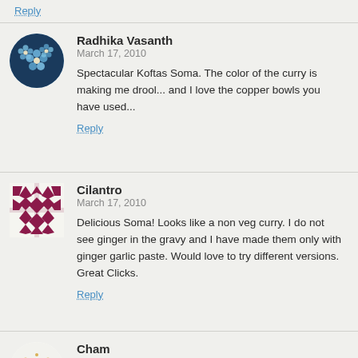Reply
Radhika Vasanth
March 17, 2010
Spectacular Koftas Soma. The color of the curry is making me drool... and I love the copper bowls you have used...
Reply
Cilantro
March 17, 2010
Delicious Soma! Looks like a non veg curry. I do not see ginger in the gravy and I have made them only with ginger garlic paste. Would love to try different versions. Great Clicks.
Reply
Cham
March 17, 2010